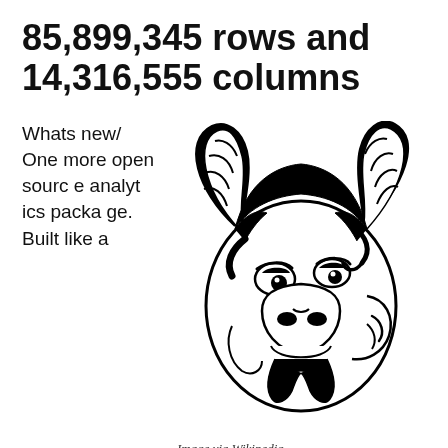85,899,345 rows and 14,316,555 columns
Whats new/ One more open source analytics package. Built like a
[Figure (illustration): Black and white illustration of the GNU mascot (a wildebeest/gnu head with large curved horns), facing slightly to the right, drawn in a bold line-art style.]
Image via Wikipedia